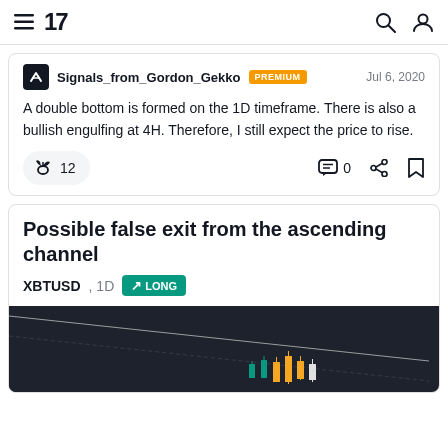TradingView navigation bar with hamburger menu, logo '17', search and account icons
Signals_from_Gordon_Gekko  PREMIUM  Jul 6, 2020
A double bottom is formed on the 1D timeframe. There is also a bullish engulfing at 4H. Therefore, I still expect the price to rise.
🚀 12   0  (share)  (bookmark)
Possible false exit from the ascending channel
XBTUSD, 1D  ↗ LONG
[Figure (screenshot): Dark-themed TradingView candlestick chart showing XBTUSD 1D with an ascending channel pattern. Candlesticks visible with orange/white candles near the bottom of the visible area and a diagonal white line (channel boundary) descending from upper left to lower right.]